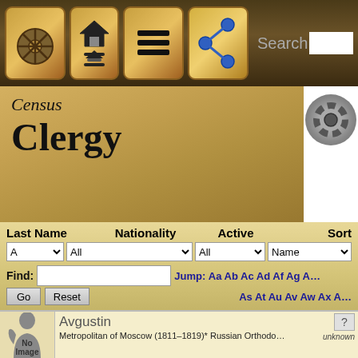[Figure (screenshot): App toolbar with navigation icons (wheel, home, menu, share) and a Search bar]
Census
Clergy
Last Name | Nationality | Active | Sort
Find:  Jump: Aa Ab Ac Ad Af Ag A... As At Au Av Aw Ax A...
Avgustin
Metropolitan of Moscow (1811–1819)* Russian Orthodo...
unknown
Avramios I
Patriarch (1775-1787)* Patriarchate of Jerusalem
born unknown